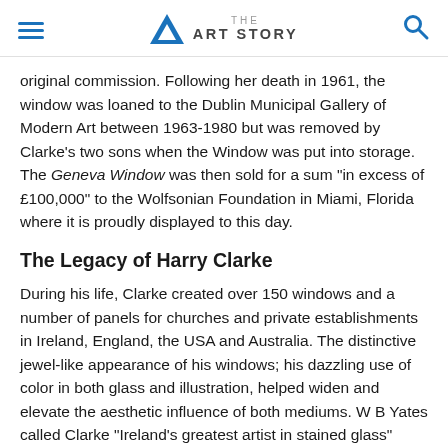THE ART STORY
original commission. Following her death in 1961, the window was loaned to the Dublin Municipal Gallery of Modern Art between 1963-1980 but was removed by Clarke's two sons when the Window was put into storage. The Geneva Window was then sold for a sum "in excess of £100,000" to the Wolfsonian Foundation in Miami, Florida where it is proudly displayed to this day.
The Legacy of Harry Clarke
During his life, Clarke created over 150 windows and a number of panels for churches and private establishments in Ireland, England, the USA and Australia. The distinctive jewel-like appearance of his windows; his dazzling use of color in both glass and illustration, helped widen and elevate the aesthetic influence of both mediums. W B Yates called Clarke "Ireland's greatest artist in stained glass" while George ("AE") Russell referred to Clarke as "one of the